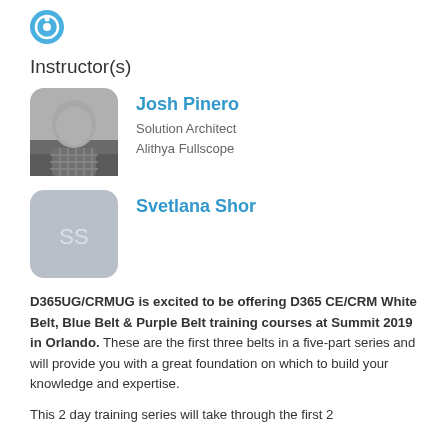[Figure (logo): Blue circular icon/badge at top]
Instructor(s)
[Figure (photo): Headshot photo of Josh Pinero, grayscale, man in checkered shirt]
Josh Pinero
Solution Architect
Alithya Fullscope
[Figure (illustration): Avatar placeholder with initials SS for Svetlana Shor]
Svetlana Shor
D365UG/CRMUG is excited to be offering D365 CE/CRM White Belt, Blue Belt & Purple Belt training courses at Summit 2019 in Orlando. These are the first three belts in a five-part series and will provide you with a great foundation on which to build your knowledge and expertise.
This 2 day training series will take through the first 2